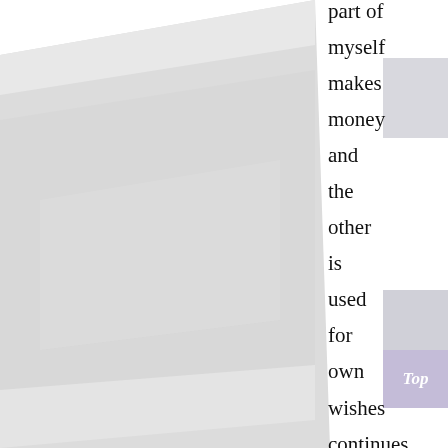[Figure (photo): Large light gray tilted photo or image placeholder occupying the left two-thirds of the page]
part of myself makes money and the other is used for own wishes continues. Further,
[Figure (other): Purple/lavender 'Top' button in bottom right corner]